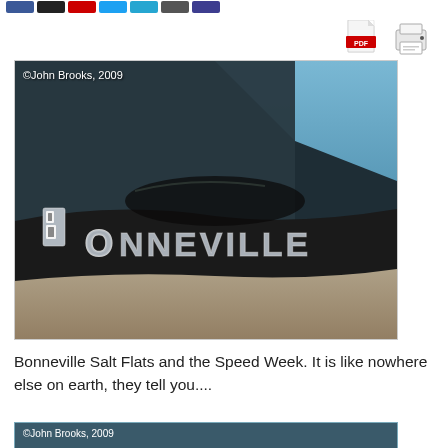Social sharing buttons row
[Figure (photo): Close-up photograph of a Bonneville car badge/emblem showing chrome letters spelling BONNEVILLE on a dark car body, with sky in background. Watermark: ©John Brooks, 2009]
Bonneville Salt Flats and the Speed Week. It is like nowhere else on earth, they tell you....
[Figure (photo): Partial view of another photo with watermark ©John Brooks, 2009 at bottom of page]